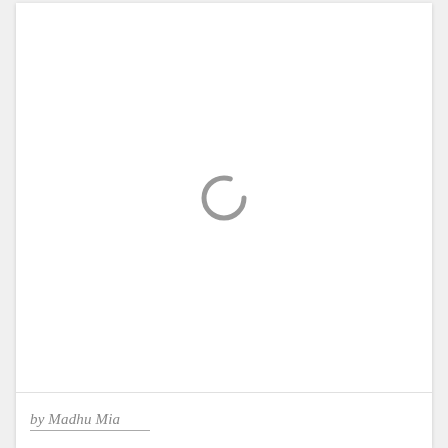[Figure (other): Loading spinner icon — a partial circle arc in gray, indicating content is loading]
by Madhu Mia